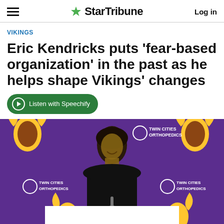StarTribune | Log in
VIKINGS
Eric Kendricks puts 'fear-based organization' in the past as he helps shape Vikings' changes
Listen with Speechify
[Figure (photo): Eric Kendricks smiling at a press conference in front of a purple Minnesota Vikings backdrop with Twin Cities Orthopedics sponsor logos, wearing a black sweatshirt]